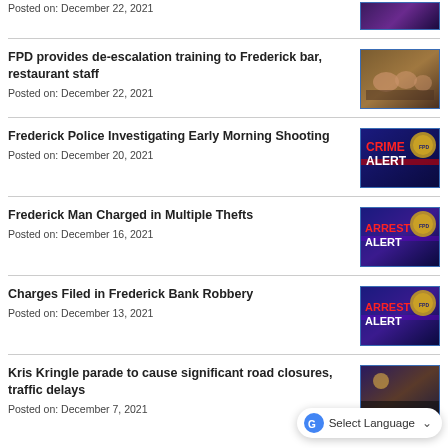Posted on: December 22, 2021
[Figure (photo): Partial thumbnail of a news story image at top]
FPD provides de-escalation training to Frederick bar, restaurant staff
Posted on: December 22, 2021
[Figure (photo): Photo of people sitting in a training session in a bar/restaurant]
Frederick Police Investigating Early Morning Shooting
Posted on: December 20, 2021
[Figure (photo): Crime Alert graphic with FPD badge]
Frederick Man Charged in Multiple Thefts
Posted on: December 16, 2021
[Figure (photo): Arrest Alert graphic with FPD badge]
Charges Filed in Frederick Bank Robbery
Posted on: December 13, 2021
[Figure (photo): Arrest Alert graphic with FPD badge]
Kris Kringle parade to cause significant road closures, traffic delays
Posted on: December 7, 2021
[Figure (photo): Partial thumbnail of parade/night scene]